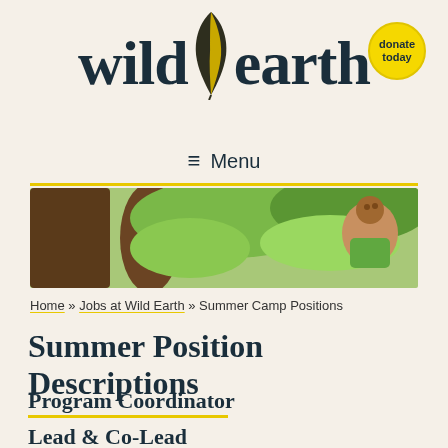[Figure (logo): Wild Earth logo with feather between 'wild' and 'earth' text, dark navy serif font]
[Figure (illustration): Yellow circular 'donate today' button in top right corner]
≡  Menu
[Figure (photo): Banner photo of a child smiling in trees/nature, green foliage background]
Home » Jobs at Wild Earth » Summer Camp Positions
Summer Position Descriptions
Program Coordinator
Lead & Co-Lead